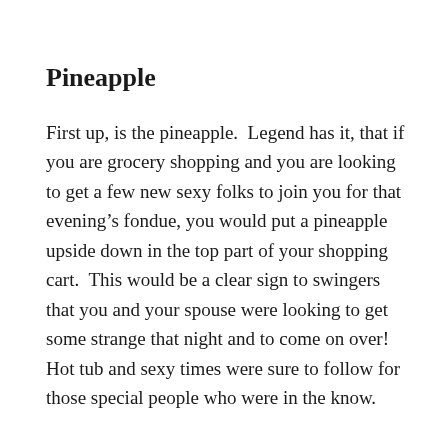Pineapple
First up, is the pineapple.  Legend has it, that if you are grocery shopping and you are looking to get a few new sexy folks to join you for that evening’s fondue, you would put a pineapple upside down in the top part of your shopping cart.  This would be a clear sign to swingers that you and your spouse were looking to get some strange that night and to come on over!  Hot tub and sexy times were sure to follow for those special people who were in the know.